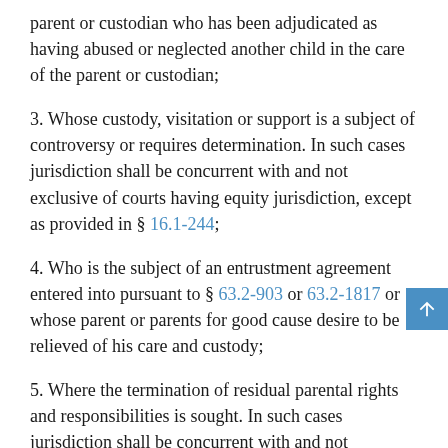parent or custodian who has been adjudicated as having abused or neglected another child in the care of the parent or custodian;
3. Whose custody, visitation or support is a subject of controversy or requires determination. In such cases jurisdiction shall be concurrent with and not exclusive of courts having equity jurisdiction, except as provided in § 16.1-244;
4. Who is the subject of an entrustment agreement entered into pursuant to § 63.2-903 or 63.2-1817 or whose parent or parents for good cause desire to be relieved of his care and custody;
5. Where the termination of residual parental rights and responsibilities is sought. In such cases jurisdiction shall be concurrent with and not exclusive of courts having equity jurisdiction, as provided in § 16.1-244;
6. Who is charged with a traffic infraction as defined in § 46.2-100...